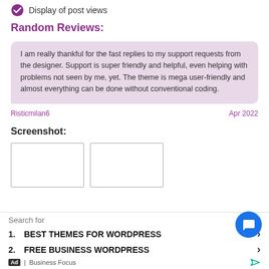Display of post views
Random Reviews:
I am really thankful for the fast replies to my support requests from the designer. Support is super friendly and helpful, even helping with problems not seen by me, yet. The theme is mega user-friendly and almost everything can be done without conventional coding.
Risticmilan6   Apr 2022
Screenshot:
[Figure (screenshot): Two screenshot thumbnail placeholders shown as white boxes with borders]
Search for
1. BEST THEMES FOR WORDPRESS ›
2. FREE BUSINESS WORDPRESS ›
Ad | Business Focus